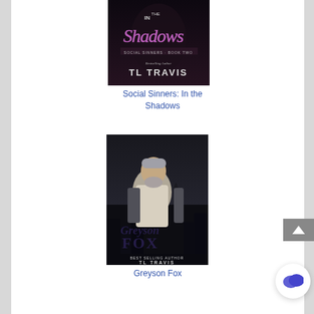[Figure (illustration): Book cover for 'Social Sinners: In the Shadows' by TL Travis. Dark background with pink/purple neon-style title text 'IN THE Shadows', subtitle 'Social Sinners Book Two', 'Bestselling Author TL TRAVIS'.]
Social Sinners: In the Shadows
[Figure (illustration): Book cover for 'Greyson Fox' by TL Travis. Features a silver-haired bearded man in a white shirt against a dark city skyline background. Title 'Greyson Fox' in script/bold text overlaid. 'Best Selling Author TL TRAVIS' at bottom.]
Greyson Fox